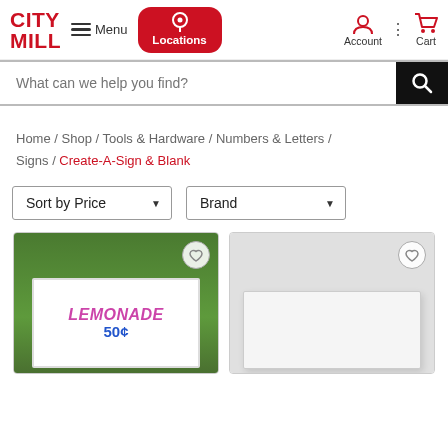City Mill — Menu | Locations | Account | Cart
What can we help you find?
Home / Shop / Tools & Hardware / Numbers & Letters / Signs / Create-A-Sign & Blank
Sort by Price ▼
Brand ▼
[Figure (photo): Lemonade yard sign reading LEMONADE 50¢ on green grass]
[Figure (photo): Blank white/gray create-a-sign product on gray background]